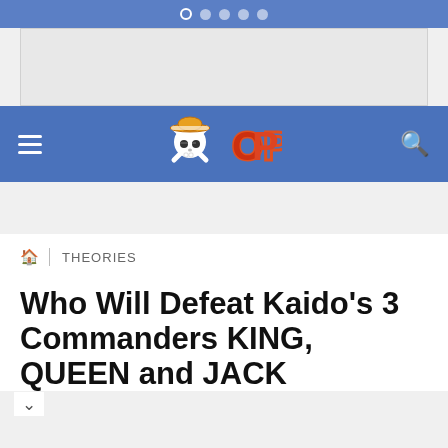[Figure (screenshot): Top navigation indicator bar with dots on blue background]
[Figure (screenshot): Advertisement banner placeholder gray rectangle]
[Figure (screenshot): Navigation bar with hamburger menu, One Piece OP logo (skull with straw hat and OP letters), and search icon on blue background]
THEORIES
Who Will Defeat Kaido's 3 Commanders KING, QUEEN and JACK